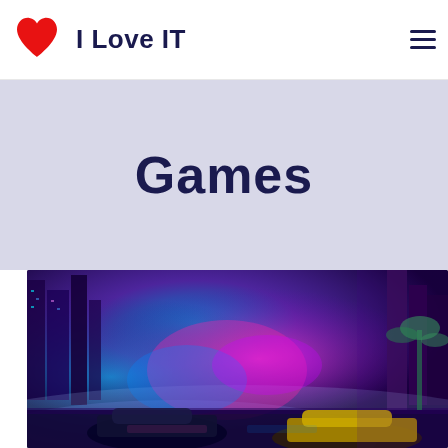I Love IT
Games
[Figure (screenshot): A colorful cyberpunk-style racing game artwork showing neon-lit city streets with exotic cars, purple and blue lighting effects, and police lights.]